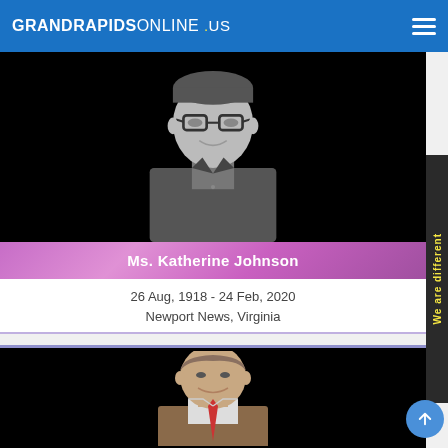GRANDRAPIDSONLINE .us
[Figure (photo): Black and white portrait photo of Ms. Katherine Johnson wearing large glasses and a blazer]
Ms. Katherine Johnson
26 Aug, 1918 - 24 Feb, 2020
Newport News, Virginia
[Figure (photo): Color portrait photo of a man smiling, partial view]
[Figure (other): We are different vertical side banner in yellow text on dark background]